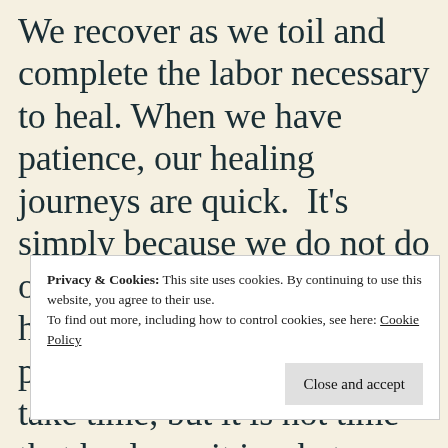We recover as we toil and complete the labor necessary to heal. When we have patience, our healing journeys are quick.  It's simply because we do not do ourselves more harm and have to back track. Stay patient and remember things take time, but it is not time that heals us, it is what
Privacy & Cookies: This site uses cookies. By continuing to use this website, you agree to their use. To find out more, including how to control cookies, see here: Cookie Policy
Close and accept